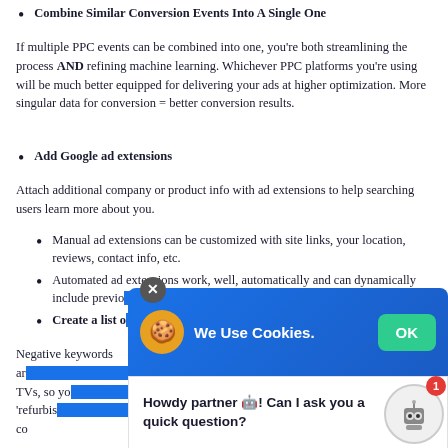Combine Similar Conversion Events Into A Single One
If multiple PPC events can be combined into one, you're both streamlining the process AND refining machine learning. Whichever PPC platforms you're using will be much better equipped for delivering your ads at higher optimization. More singular data for conversion = better conversion results.
Add Google ad extensions
Attach additional company or product info with ad extensions to help searching users learn more about you.
Manual ad extensions can be customized with site links, your location, reviews, contact info, etc.
Automated ad extensions work, well, automatically and can dynamically include previo... etc.
Create a list o...
Negative keywords ar... new' TVs, so yo... searching for 'refurbis... relevant click and co... campaign budget.
[Figure (screenshot): Cookie consent popup overlay with blue gradient background showing cookie icon, 'We Use Cookies.' text, and green OK button]
[Figure (screenshot): Chat bot popup with text 'Howdy partner! Can I ask you a quick question?', a close button, robot icon, and red notification badge showing 1]